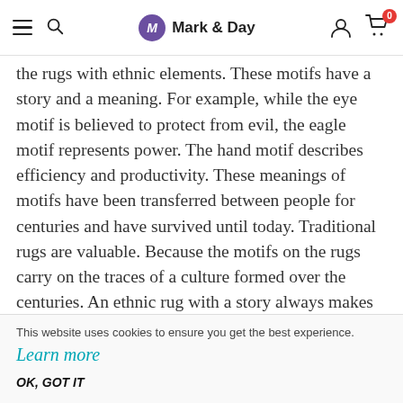Mark & Day
the rugs with ethnic elements. These motifs have a story and a meaning. For example, while the eye motif is believed to protect from evil, the eagle motif represents power. The hand motif describes efficiency and productivity. These meanings of motifs have been transferred between people for centuries and have survived until today. Traditional rugs are valuable. Because the motifs on the rugs carry on the traces of a culture formed over the centuries. An ethnic rug with a story always makes you feel the effect of oldies but goldies. If you want to include a piece in your room that will
This website uses cookies to ensure you get the best experience.
Learn more
OK, GOT IT